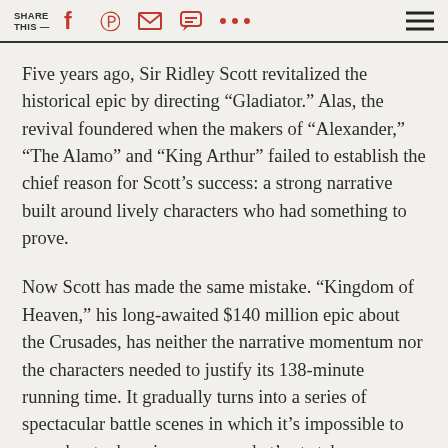SHARE THIS —
Five years ago, Sir Ridley Scott revitalized the historical epic by directing “Gladiator.” Alas, the revival foundered when the makers of “Alexander,” “The Alamo” and “King Arthur” failed to establish the chief reason for Scott’s success: a strong narrative built around lively characters who had something to prove.
Now Scott has made the same mistake. “Kingdom of Heaven,” his long-awaited $140 million epic about the Crusades, has neither the narrative momentum nor the characters needed to justify its 138-minute running time. It gradually turns into a series of spectacular battle scenes in which it’s impossible to care about who wins or even what’s at stake.